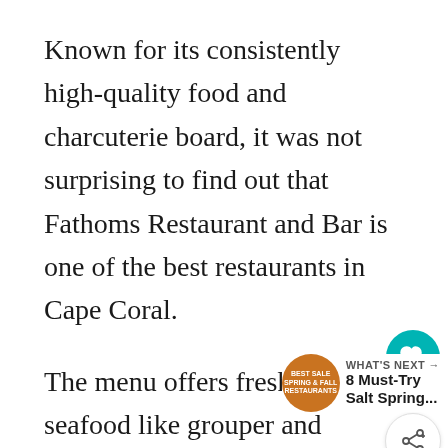Known for its consistently high-quality food and charcuterie board, it was not surprising to find out that Fathoms Restaurant and Bar is one of the best restaurants in Cape Coral.
The menu offers fresh local seafood like grouper and snapper, caught right off the beaches of Southwest Florida, as well as other dishes such as filet mignon wrapped in bacon and topped with your choice of lobster or shrimp.
Located on Cape Coral’s waterfront, this restaurant is a great place to dine while...